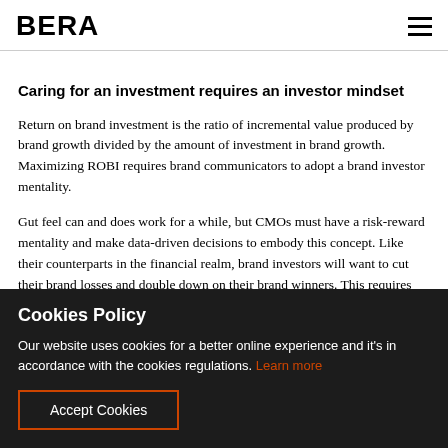BERA
Caring for an investment requires an investor mindset
Return on brand investment is the ratio of incremental value produced by brand growth divided by the amount of investment in brand growth. Maximizing ROBI requires brand communicators to adopt a brand investor mentality.
Gut feel can and does work for a while, but CMOs must have a risk-reward mentality and make data-driven decisions to embody this concept. Like their counterparts in the financial realm, brand investors will want to cut their brand losses and double down on their brand winners. This requires collecting
Cookies Policy
Our website uses cookies for a better online experience and it's in accordance with the cookies regulations. Learn more
Accept Cookies